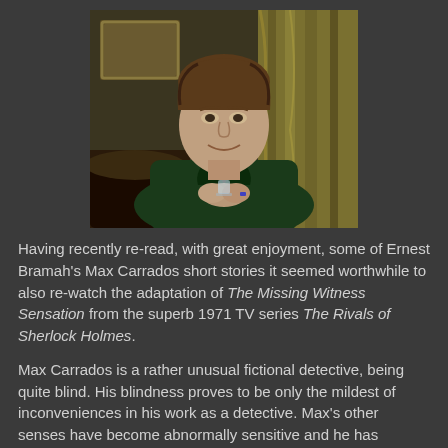[Figure (photo): A man in a green jacket sitting in an ornate room with gold curtains, smiling and holding a glass, hands clasped together.]
Having recently re-read, with great enjoyment, some of Ernest Bramah's Max Carrados short stories it seemed worthwhile to also re-watch the adaptation of The Missing Witness Sensation from the superb 1971 TV series The Rivals of Sherlock Holmes.
Max Carrados is a rather unusual fictional detective, being quite blind. His blindness proves to be only the mildest of inconveniences in his work as a detective. Max's other senses have become abnormally sensitive and he has